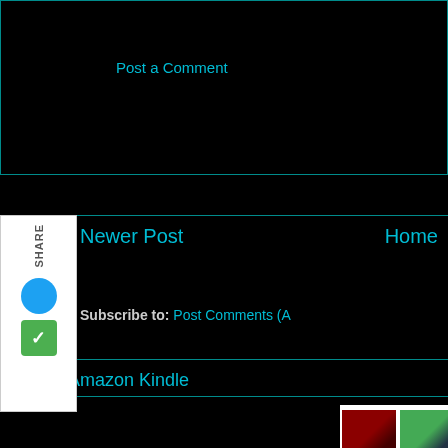Post a Comment
Newer Post
Home
Subscribe to: Post Comments (A
Amazon Kindle
[Figure (screenshot): Amazon Kindle advertisement banner showing book covers including Dan Brown's Lost Symbol, A Dance with Dragons by George R.R. Martin, and other titles, alongside the Kindle orange logo and text 'Choose from over']